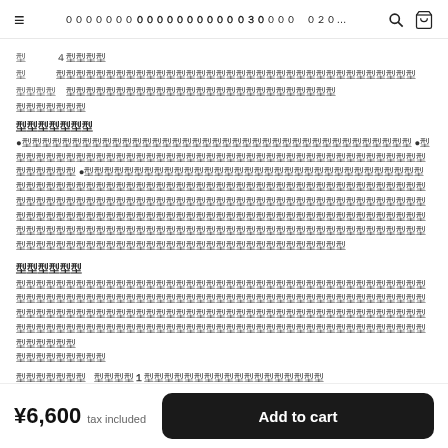≡  ０００００００００００００００００００３０００００　０２０...  🔍  🛒
型　　４型型型型
型　　型型型型型型型型型型型型型型型型型型型型型型型型型型型型型型型型
型型型型　　型型型型型型型型型型型型型型型型型型型型型型型型型型
型型型型型型型
型型型型型型型
●型型型型型型型型型型型型型型型型型型型型型型型型型型型型型型型型型型型型型型型 ●型型型型型型型型型型型型型型型型型型型型型型型型型型型型型型型型型型型型型型型型型型型型型型型型型 ●型型型型型型型型型型型型型型型型型型型型型型型型型型型型型型型型型型型型型型型型型型型型型型型型型型型型型型型 ●型型型型型型型型型型型型型型型型型型型型型型型型型型型型型型型型型型型型型型型型型型型型型型型型型型型型型型型型型型型型型型型型型型型型型型型型型型型型型型型型型型型型型型型型型型型型型型型型型型型型型型型型型型型型型型型型型型型型型型型型型型型型型
型型型型型型
型型型型型型型型型型型型型型型型型型型型型型型型型型型型型型型型型型型型型型型型型型型型型型型型型型型型型型型型型型型型型型型型型型型型型型型型型型型型型型型型型型型型型型型型型型型型型型型型型型型型型型型型型型型型型型型型型型型型型型型型型型型型
型型型型型型型型型
型型型型型型型　　型型型型１型型型型型型型型型型型型型型型型型型
型型型型型型型　　型型型型型型型型型型型型型型型型型型型型
型型型型型型型型型型型型型型型型型型型型型型型型型型型型型
¥6,600  tax included    Add to cart